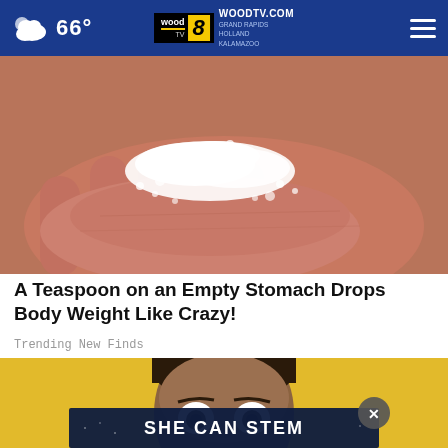66° WOODTV.COM GRAND RAPIDS HOLLAND KALAMAZOO
[Figure (photo): Close-up of a hand holding white powder/salt crystals against a blurred background]
A Teaspoon on an Empty Stomach Drops Body Weight Like Crazy!
Trending New Finds
[Figure (photo): Man with surprised expression on yellow background, with 'SHE CAN STEM' advertisement overlay banner and close button]